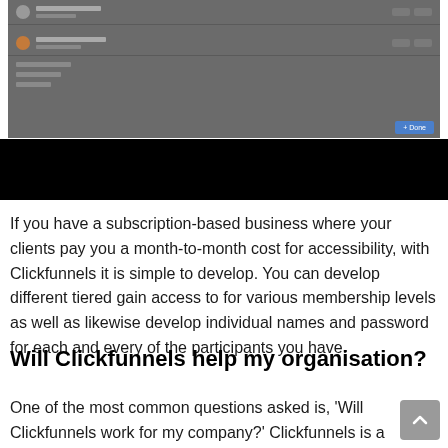[Figure (screenshot): Screenshot of a web interface showing list items with icons, text rows, and a blue button at the bottom right]
If you have a subscription-based business where your clients pay you a month-to-month cost for accessibility, with Clickfunnels it is simple to develop. You can develop different tiered gain access to for various membership levels as well as likewise develop individual names and password for each and every of the participants you have.
Will Clickfunnels help my organisation?
One of the most common questions asked is, 'Will Clickfunnels work for my company?' Clickfunnels is a very